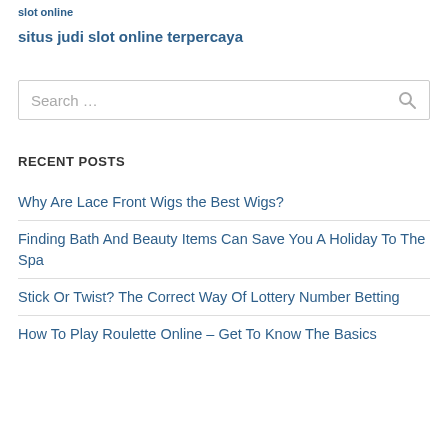slot online
situs judi slot online terpercaya
Search …
RECENT POSTS
Why Are Lace Front Wigs the Best Wigs?
Finding Bath And Beauty Items Can Save You A Holiday To The Spa
Stick Or Twist? The Correct Way Of Lottery Number Betting
How To Play Roulette Online – Get To Know The Basics